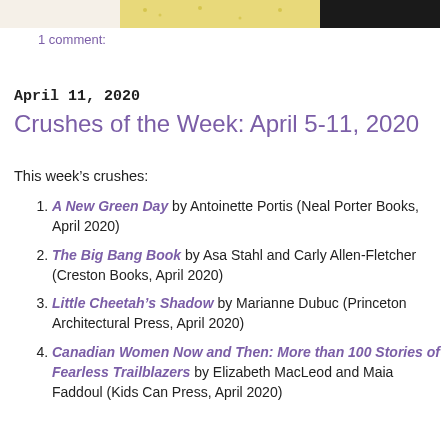[Figure (photo): Partial view of two book covers at the top of the page, cropped]
1 comment:
April 11, 2020
Crushes of the Week: April 5-11, 2020
This week's crushes:
A New Green Day by Antoinette Portis (Neal Porter Books, April 2020)
The Big Bang Book by Asa Stahl and Carly Allen-Fletcher (Creston Books, April 2020)
Little Cheetah's Shadow by Marianne Dubuc (Princeton Architectural Press, April 2020)
Canadian Women Now and Then: More than 100 Stories of Fearless Trailblazers by Elizabeth MacLeod and Maia Faddoul (Kids Can Press, April 2020)